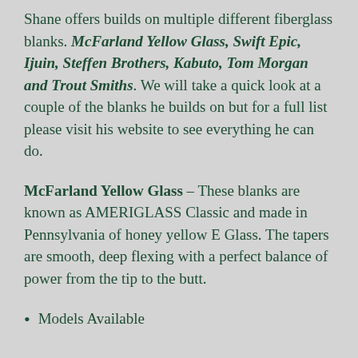Shane offers builds on multiple different fiberglass blanks. McFarland Yellow Glass, Swift Epic, Ijuin, Steffen Brothers, Kabuto, Tom Morgan and Trout Smiths. We will take a quick look at a couple of the blanks he builds on but for a full list please visit his website to see everything he can do.
McFarland Yellow Glass – These blanks are known as AMERIGLASS Classic and made in Pennsylvania of honey yellow E Glass. The tapers are smooth, deep flexing with a perfect balance of power from the tip to the butt.
Models Available